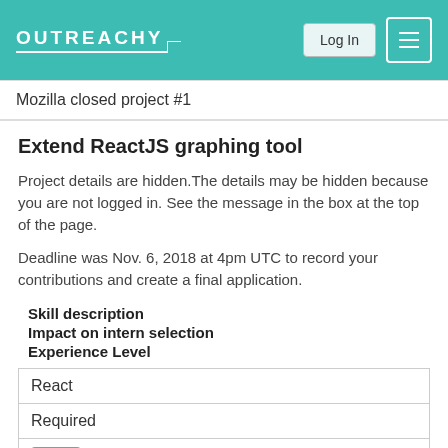OUTREACHY  Log In  [menu]
Mozilla closed project #1
Extend ReactJS graphing tool
Project details are hidden.The details may be hidden because you are not logged in. See the message in the box at the top of the page.
Deadline was Nov. 6, 2018 at 4pm UTC to record your contributions and create a final application.
Skill description
Impact on intern selection
Experience Level
| React |
| Required |
| 4 |